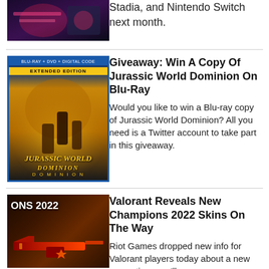[Figure (photo): Partial image of a racing/gaming scene, cut off at top]
Stadia, and Nintendo Switch next month.
[Figure (photo): Jurassic World Dominion Blu-ray + DVD + Digital Code Extended Edition cover art]
Giveaway: Win A Copy Of Jurassic World Dominion On Blu-Ray
Would you like to win a Blu-ray copy of Jurassic World Dominion? All you need is a Twitter account to take part in this giveaway.
[Figure (photo): Valorant Champions 2022 skins promotional image showing a stylized red weapon skin]
Valorant Reveals New Champions 2022 Skins On The Way
Riot Games dropped new info for Valorant players today about a new cosmetic as we'll